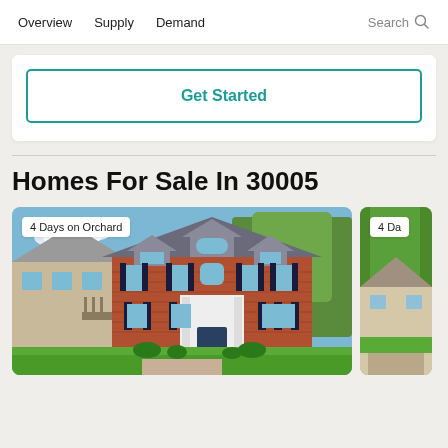Overview  Supply  Demand  Search
Get Started
Homes For Sale In 30005
[Figure (photo): Exterior photo of a two-story brick colonial home with a large green lawn, labeled '4 Days on Orchard']
[Figure (photo): Partial exterior photo of another home, labeled '4 Da...' (partially visible)]